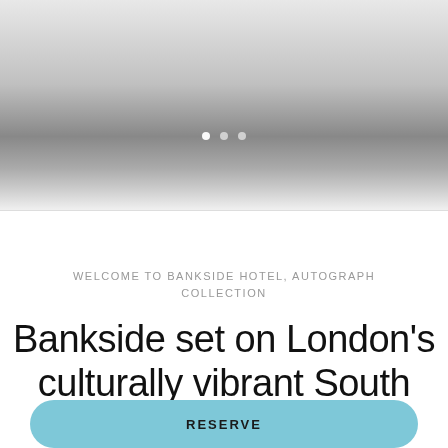[Figure (photo): Hotel or cityscape image shown as a gradient carousel with navigation dots (first dot active), fading from light grey at top to dark grey in middle and back to light at bottom]
WELCOME TO BANKSIDE HOTEL, AUTOGRAPH COLLECTION
Bankside set on London's culturally vibrant South
RESERVE